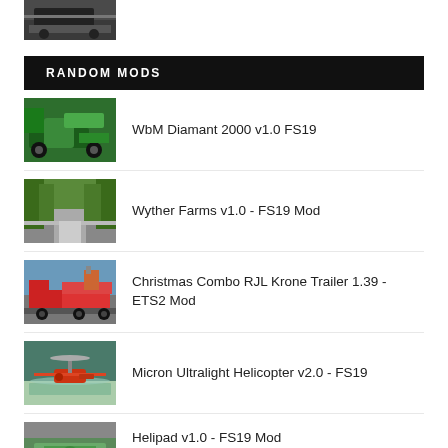[Figure (photo): Thumbnail of a truck on a road, partially visible at top]
RANDOM MODS
[Figure (photo): Green agricultural machine WbM Diamant 2000]
WbM Diamant 2000 v1.0 FS19
[Figure (photo): Road through trees - Wyther Farms map]
Wyther Farms v1.0 - FS19 Mod
[Figure (photo): Christmas-themed truck and trailer]
Christmas Combo RJL Krone Trailer 1.39 - ETS2 Mod
[Figure (photo): Helicopter near water - Micron Ultralight Helicopter]
Micron Ultralight Helicopter v2.0 - FS19
[Figure (photo): Helipad thumbnail, partially visible]
Helipad v1.0 - FS19 Mod